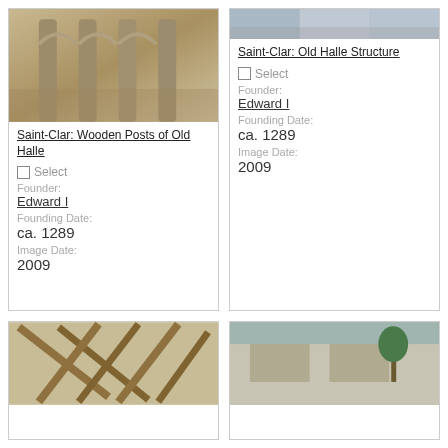[Figure (photo): Photo of Saint-Clar wooden posts of old halle - stone columns with arches]
Saint-Clar: Wooden Posts of Old Halle
Select Founder: Edward I Founding Date: ca. 1289 Image Date: 2009
[Figure (photo): Photo of Saint-Clar Old Halle Structure - street view with arches]
Saint-Clar: Old Halle Structure
Select Founder: Edward I Founding Date: ca. 1289 Image Date: 2009
[Figure (photo): Photo of wooden beam roof structure]
[Figure (photo): Photo of arched stone building exterior]